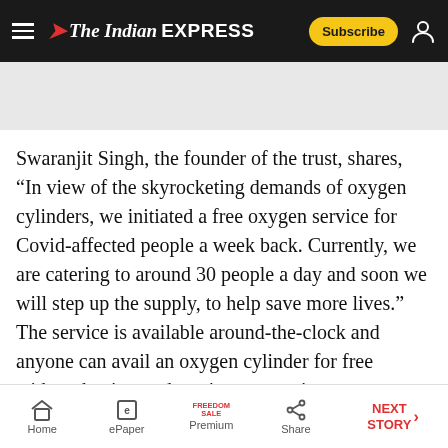The Indian EXPRESS — Subscribe
[Figure (other): Advertisement banner area (gray placeholder)]
Swaranjit Singh, the founder of the trust, shares, “In view of the skyrocketing demands of oxygen cylinders, we initiated a free oxygen service for Covid-affected people a week back. Currently, we are catering to around 30 people a day and soon we will step up the supply, to help save more lives.” The service is available around-the-clock and anyone can avail an oxygen cylinder for free without having to deposit any security amount.
Home | ePaper | Premium | Share | NEXT STORY